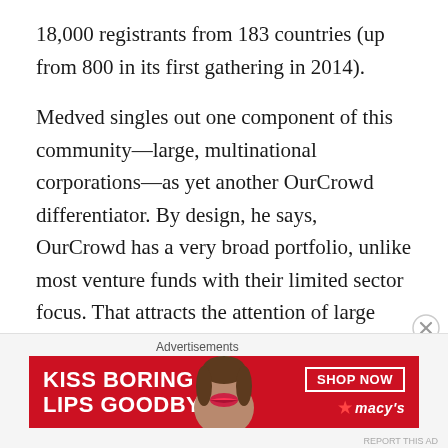18,000 registrants from 183 countries (up from 800 in its first gathering in 2014).
Medved singles out one component of this community—large, multinational corporations—as yet another OurCrowd differentiator. By design, he says, OurCrowd has a very broad portfolio, unlike most venture funds with their limited sector focus. That attracts the attention of large corporations, increasingly looking to invest in, experiment with, and sometimes acquire a broad range of technologies (funding from corporate venture capital firms worldwide increased 47% in 2018, according to CBI). In addition to funding, these multinational corporations
[Figure (other): Advertisement banner for Macy's: 'KISS BORING LIPS GOODBYE' with a SHOP NOW button and Macy's star logo on a red background, with a woman's face image in center.]